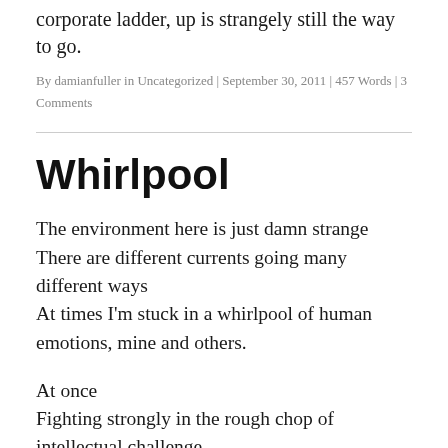corporate ladder, up is strangely still the way to go.
By damianfuller in Uncategorized | September 30, 2011 | 457 Words | 3 Comments
Whirlpool
The environment here is just damn strange
There are different currents going many different ways
At times I'm stuck in a whirlpool of human emotions, mine and others.
At once
Fighting strongly in the rough chop of intellectual challenge